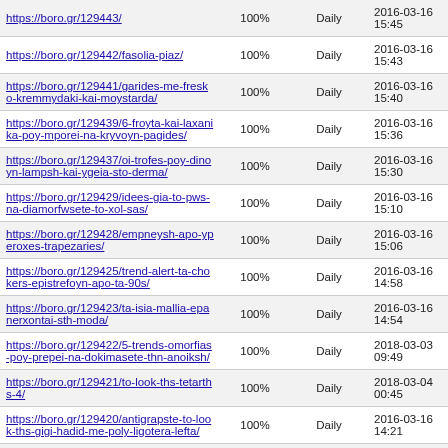| https://boro.gr/129443/ | 100% | Daily | 2016-03-16 15:45 |
| https://boro.gr/129442/fasolia-piaz/ | 100% | Daily | 2016-03-16 15:43 |
| https://boro.gr/129441/garides-me-fresko-kremmydaki-kai-moystarda/ | 100% | Daily | 2016-03-16 15:40 |
| https://boro.gr/129439/6-froyta-kai-laxanika-poy-mporei-na-kryvoyn-pagides/ | 100% | Daily | 2016-03-16 15:36 |
| https://boro.gr/129437/oi-trofes-poy-dinoyn-lampsh-kai-ygeia-sto-derma/ | 100% | Daily | 2016-03-16 15:30 |
| https://boro.gr/129429/idees-gia-to-pws-na-diamorfwsete-to-xol-sas/ | 100% | Daily | 2016-03-16 15:10 |
| https://boro.gr/129428/empneysh-apo-yperoxes-trapezaries/ | 100% | Daily | 2016-03-16 15:06 |
| https://boro.gr/129425/trend-alert-ta-chokers-epistrefoyn-apo-ta-90s/ | 100% | Daily | 2016-03-16 14:58 |
| https://boro.gr/129423/ta-isia-mallia-epanerxontai-sth-moda/ | 100% | Daily | 2016-03-16 14:54 |
| https://boro.gr/129422/5-trends-omorfias-poy-prepei-na-dokimasete-thn-anoiksh/ | 100% | Daily | 2018-03-03 09:49 |
| https://boro.gr/129421/to-look-ths-tetarths-4/ | 100% | Daily | 2018-03-04 00:45 |
| https://boro.gr/129420/antigrapste-to-look-ths-gigi-hadid-me-poly-ligotera-lefta/ | 100% | Daily | 2016-03-16 14:21 |
| https://boro.gr/129419/trend-alert-to-karo- | 100% | Daily | 2016-03-16 |